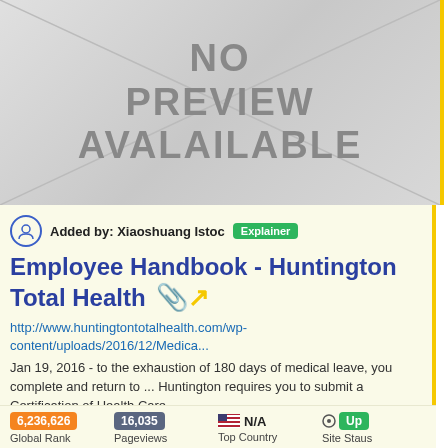[Figure (other): No preview available placeholder image with gray gradient background and X cross lines]
Added by: Xiaoshuang Istoc  Explainer
Employee Handbook - Huntington Total Health
http://www.huntingtontotalhealth.com/wp-content/uploads/2016/12/Medica...
Jan 19, 2016 - to the exhaustion of 180 days of medical leave, you complete and return to ... Huntington requires you to submit a Certification of Health Care ...
| Global Rank | Pageviews | Top Country | Site Staus |
| --- | --- | --- | --- |
| 6,236,626 | 16,035 | N/A | Up |